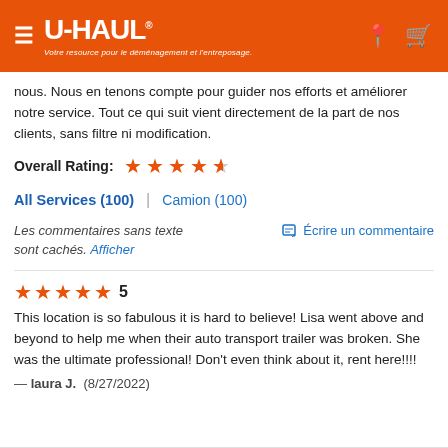U-HAUL — Votre resource pour le déménagement et l'entreposage.
nous. Nous en tenons compte pour guider nos efforts et améliorer notre service. Tout ce qui suit vient directement de la part de nos clients, sans filtre ni modification.
Overall Rating: ★★★★½
All Services (100) | Camion (100)
Les commentaires sans texte sont cachés. Afficher    ✎ Écrire un commentaire
★★★★★ 5
This location is so fabulous it is hard to believe! Lisa went above and beyond to help me when their auto transport trailer was broken. She was the ultimate professional! Don't even think about it, rent here!!!!
— laura J. (8/27/2022)